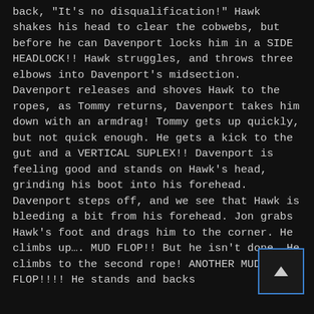back, "It's no disqualification!" Hawk shakes his head to clear the cobwebs, but before he can Davenport locks him in a SIDE HEADLOCK!! Hawk struggles, and throws three elbows into Davenport's midsection. Davenport releases and shoves Hawk to the ropes, as Tommy returns, Davenport takes him down with an armdrag! Tommy gets up quickly, but not quick enough. He gets a kick to the gut and a VERTICAL SUPLEX!! Davenport is feeling good and stands on Hawk's head, grinding his boot into his forehead. Davenport steps off, and we see that Hawk is bleeding a bit from his forehead. Jon grabs Hawk's foot and drags him to the corner. He climbs up.... MUD FLOP!! But he isn't done, He climbs to the second rope! ANOTHER MUD FLOP!!!! He stands and backs
[Figure (other): Scroll up button widget — a small rectangular box with a blue border containing an upward-pointing triangle arrow]